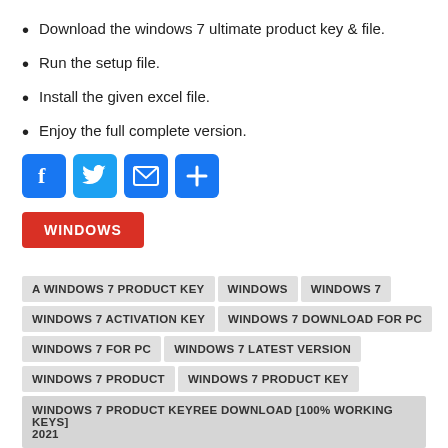Download the windows 7 ultimate product key & file.
Run the setup file.
Install the given excel file.
Enjoy the full complete version.
[Figure (other): Social share icons: Facebook, Twitter, Email, Share (plus)]
WINDOWS
A WINDOWS 7 PRODUCT KEY  WINDOWS  WINDOWS 7  WINDOWS 7 ACTIVATION KEY  WINDOWS 7 DOWNLOAD FOR PC  WINDOWS 7 FOR PC  WINDOWS 7 LATEST VERSION  WINDOWS 7 PRODUCT  WINDOWS 7 PRODUCT KEY  WINDOWS 7 PRODUCT KEYREE DOWNLOAD [100% WORKING KEYS] 2021